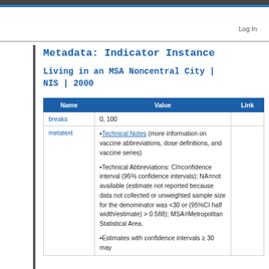Log In
Metadata: Indicator Instance
Living in an MSA Noncentral City | NIS | 2000
| Name | Value | Link |
| --- | --- | --- |
| breaks | 0, 100 |  |
| metatext | • Technical Notes (more information on vaccine abbreviations, dose definitions, and vaccine series)

•Technical Abbreviations: CI=confidence interval (95% confidence intervals); NA=not available (estimate not reported because data not collected or unweighted sample size for the denominator was <30 or (95%CI half width/estimate) > 0.588); MSA=Metropolitan Statistical Area.

•Estimates with confidence intervals ≥ 30 may |  |